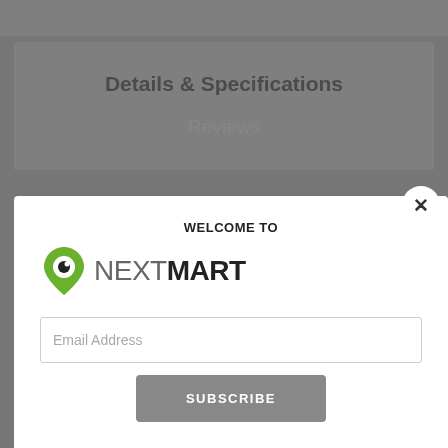Details & Specifications
Reviews
[Figure (screenshot): NextMart welcome modal popup with email subscription form. Contains 'WELCOME TO' heading, NextMart logo with eye/pin icon, an Email Address input field, and a SUBSCRIBE button. A close (×) button is in the top-right corner of the modal.]
ERGONOMIC SILICON FINISHED HANDLE - The wok is specially designed with soft silicon finished handle that is nice to grip for easy cooking. The wok is optimal for day-to-day cooking. This handle makes you feel it is so light.